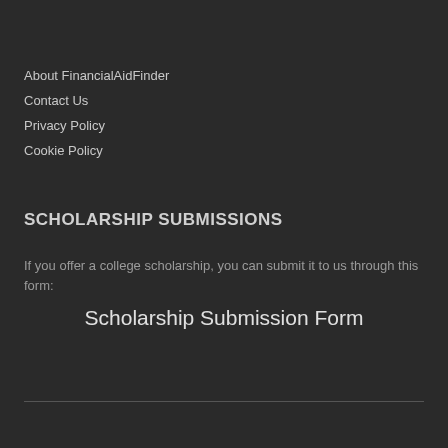About FinancialAidFinder
Contact Us
Privacy Policy
Cookie Policy
SCHOLARSHIP SUBMISSIONS
If you offer a college scholarship, you can submit it to us through this form:
Scholarship Submission Form